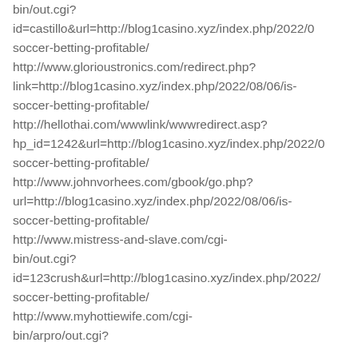bin/out.cgi? id=castillo&url=http://blog1casino.xyz/index.php/2022/0 soccer-betting-profitable/ http://www.glorioustronics.com/redirect.php? link=http://blog1casino.xyz/index.php/2022/08/06/is-soccer-betting-profitable/ http://hellothai.com/wwwlink/wwwredirect.asp? hp_id=1242&url=http://blog1casino.xyz/index.php/2022/0 soccer-betting-profitable/ http://www.johnvorhees.com/gbook/go.php? url=http://blog1casino.xyz/index.php/2022/08/06/is-soccer-betting-profitable/ http://www.mistress-and-slave.com/cgi-bin/out.cgi? id=123crush&url=http://blog1casino.xyz/index.php/2022/ soccer-betting-profitable/ http://www.myhottiewife.com/cgi-bin/arpro/out.cgi?